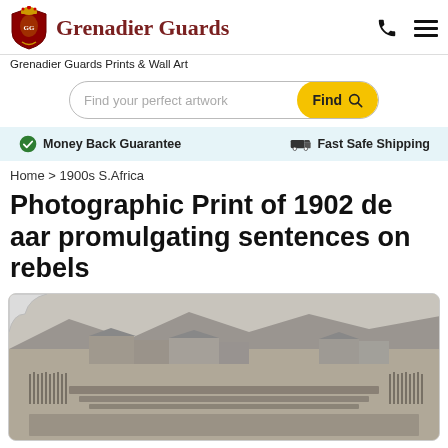Grenadier Guards
Grenadier Guards Prints & Wall Art
Find your perfect artwork
Money Back Guarantee   Fast Safe Shipping
Home > 1900s S.Africa
Photographic Print of 1902 de aar promulgating sentences on rebels
[Figure (photo): Black and white historical photograph showing a large military parade or assembly in De Aar, South Africa, 1902. Soldiers are arranged in formation in an open area with buildings and mountains in the background. The photo is displayed with a curled top-left corner effect.]